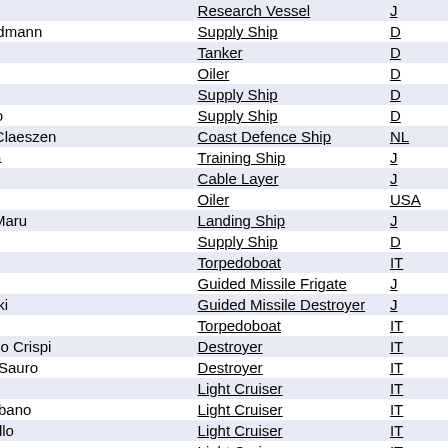| Name | Type | Nation |  |
| --- | --- | --- | --- |
| rihama | Research Vessel | J |  |
| hn Heidmann | Supply Ship | D |  |
| eve | Tanker | D |  |
| onsun | Oiler | D |  |
| air | Supply Ship | D |  |
| rtosono | Supply Ship | D |  |
| einier Claeszen | Coast Defence Ship | NL | b |
| yabusa | Training Ship | J |  |
| tami | Cable Layer | J |  |
| toka | Oiler | USA |  |
| inshu Maru | Landing Ship | J |  |
| ne | Supply Ship | D |  |
| gaso | Torpedoboat | IT |  |
| ikari | Guided Missile Frigate | J |  |
| atsuyuki | Guided Missile Destroyer | J |  |
| rtatone | Torpedoboat | IT |  |
| ancesco Crispi | Destroyer | IT |  |
| azario Sauro | Destroyer | IT |  |
| oito | Light Cruiser | IT | b |
| onzambano | Light Cruiser | IT | b |
| ontebello | Light Cruiser | IT | b |
| onfienza | Light Cruiser | IT | b |
| ... | Light Cruiser | IT |  |